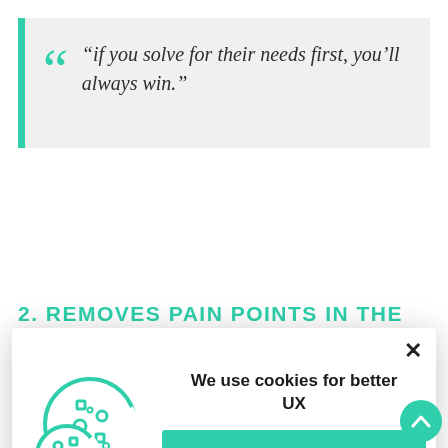“if you solve for their needs first, you’ll always win.”
2. REMOVES PAIN POINTS IN THE
[Figure (screenshot): Cookie consent modal popup with cookie icon, text 'We use cookies for better UX', a 'LEARN MORE' button, and a close X button.]
Elicit stories from the people you talk to, and